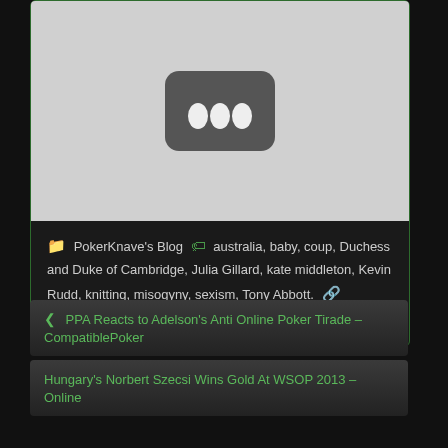[Figure (screenshot): YouTube video thumbnail placeholder with grey background and dark rounded rectangle containing three white oval dots, resembling a YouTube play button loading state]
PokerKnave's Blog  australia, baby, coup, Duchess and Duke of Cambridge, Julia Gillard, kate middleton, Kevin Rudd, knitting, misogyny, sexism, Tony Abbott.  permalink.
< PPA Reacts to Adelson's Anti Online Poker Tirade – CompatiblePoker
Hungary's Norbert Szecsi Wins Gold At WSOP 2013 – Online